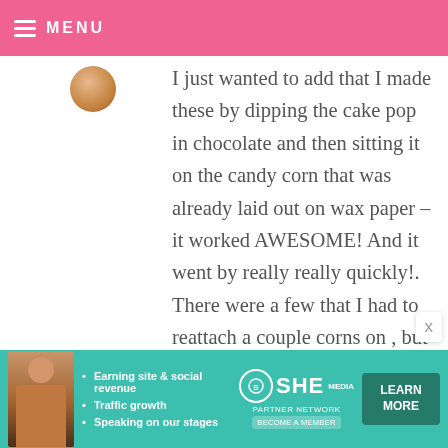MENU
I just wanted to add that I made these by dipping the cake pop in chocolate and then sitting it on the candy corn that was already laid out on wax paper – it worked AWESOME! And it went by really really quickly!. There were a few that I had to reattach a couple corns on , but otherwise it was great. I also used pastel M&M's for the centers and just attached those later with some more melted candy coating.

I did have problems with cracking
[Figure (infographic): SHE Partner Network advertisement banner with teal background, woman photo, bullet points about earning site & social revenue, traffic growth, speaking on our stages, and a LEARN MORE button]